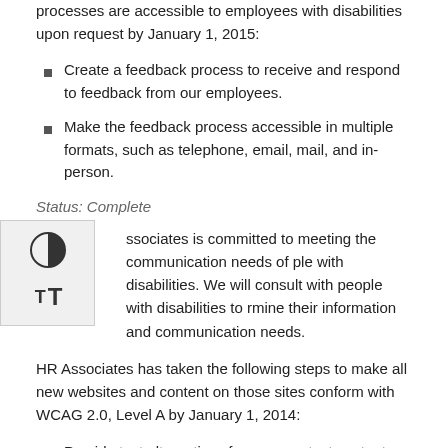processes are accessible to employees with disabilities upon request by January 1, 2015:
Create a feedback process to receive and respond to feedback from our employees.
Make the feedback process accessible in multiple formats, such as telephone, email, mail, and in-person.
Status: Complete
HR Associates is committed to meeting the communication needs of people with disabilities. We will consult with people with disabilities to determine their information and communication needs.
HR Associates has taken the following steps to make all new websites and content on those sites conform with WCAG 2.0, Level A by January 1, 2014:
Provide text alternatives for any non-text content so that it can be changed into other forms people need, such as large print,